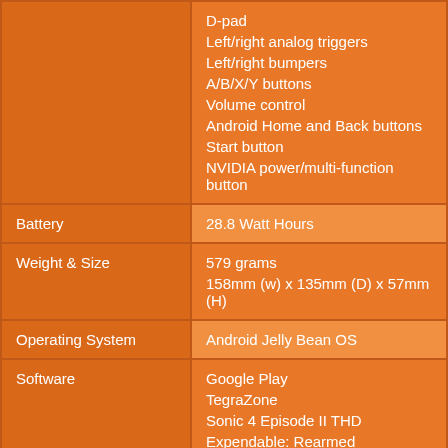| Category | Value |
| --- | --- |
|  | D-pad
Left/right analog triggers
Left/right bumpers
A/B/X/Y buttons
Volume control
Android Home and Back buttons
Start button
NVIDIA power/multi-function button |
| Battery | 28.8 Watt Hours |
| Weight & Size | 579 grams
158mm (w) x 135mm (D) x 57mm (H) |
| Operating System | Android Jelly Bean OS |
| Software | Google Play
TegraZone
Sonic 4 Episode II THD
Expendable: Rearmed
Hulu Plus |